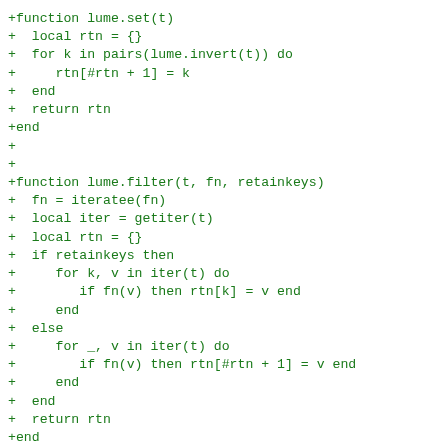+function lume.set(t)
+  local rtn = {}
+  for k in pairs(lume.invert(t)) do
+     rtn[#rtn + 1] = k
+  end
+  return rtn
+end
+
+
+function lume.filter(t, fn, retainkeys)
+  fn = iteratee(fn)
+  local iter = getiter(t)
+  local rtn = {}
+  if retainkeys then
+     for k, v in iter(t) do
+        if fn(v) then rtn[k] = v end
+     end
+  else
+     for _, v in iter(t) do
+        if fn(v) then rtn[#rtn + 1] = v end
+     end
+  end
+  return rtn
+end
+
+
+function lume.reject(t, fn, retainkeys)
+  fn = iteratee(fn)
+  local iter = getiter(t)
+  local rtn = {}